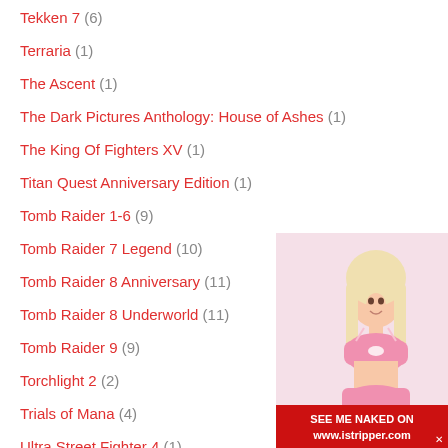Tekken 7 (6)
Terraria (1)
The Ascent (1)
The Dark Pictures Anthology: House of Ashes (1)
The King Of Fighters XV (1)
Titan Quest Anniversary Edition (1)
Tomb Raider 1-6 (9)
Tomb Raider 7 Legend (10)
Tomb Raider 8 Anniversary (11)
Tomb Raider 8 Underworld (11)
Tomb Raider 9 (9)
Torchlight 2 (2)
Trials of Mana (4)
Ultra Street Fighter 4 (1)
[Figure (photo): Advertisement banner with a woman in pink lingerie and text 'SEE ME NAKED ON www.istripper.com']